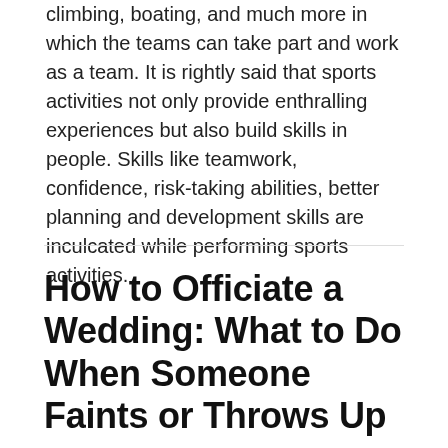climbing, boating, and much more in which the teams can take part and work as a team. It is rightly said that sports activities not only provide enthralling experiences but also build skills in people. Skills like teamwork, confidence, risk-taking abilities, better planning and development skills are inculcated while performing sports activities.
How to Officiate a Wedding: What to Do When Someone Faints or Throws Up
SEPTEMBER 27, 2017 / ADMIN